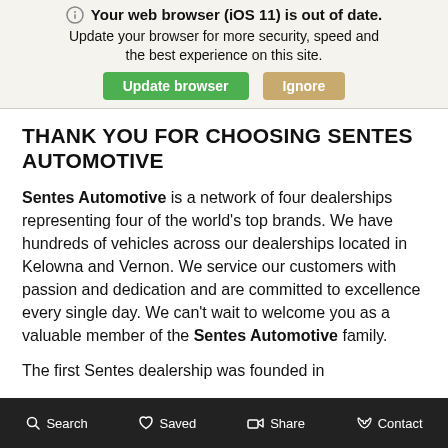Your web browser (iOS 11) is out of date. Update your browser for more security, speed and the best experience on this site. [Update browser] [Ignore]
THANK YOU FOR CHOOSING SENTES AUTOMOTIVE
Sentes Automotive is a network of four dealerships representing four of the world's top brands. We have hundreds of vehicles across our dealerships located in Kelowna and Vernon. We service our customers with passion and dedication and are committed to excellence every single day. We can't wait to welcome you as a valuable member of the Sentes Automotive family.
The first Sentes dealership was founded in
Search   Saved   Share   Contact